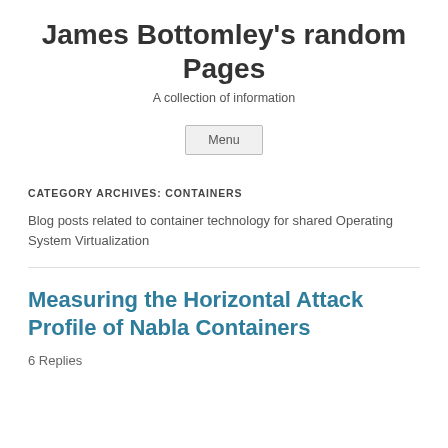James Bottomley's random Pages
A collection of information
Menu
CATEGORY ARCHIVES: CONTAINERS
Blog posts related to container technology for shared Operating System Virtualization
Measuring the Horizontal Attack Profile of Nabla Containers
6 Replies